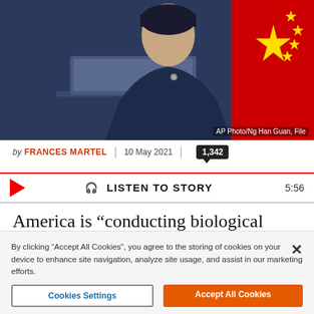[Figure (photo): Woman in dark navy jacket at podium with Chinese flag in background, AP Photo/Ng Han Guan, File]
AP Photo/Ng Han Guan, File
by FRANCES MARTEL  |  10 May 2021  |  1,342
LISTEN TO STORY  5:56
America is “conducting biological warfare and bioterrorism using genetic engineering technology,” China’s state-run Global Times newspaper accused on Monday, citing Foreign Ministry spokeswoman Hua Chunying.
By clicking “Accept All Cookies”, you agree to the storing of cookies on your device to enhance site navigation, analyze site usage, and assist in our marketing efforts.